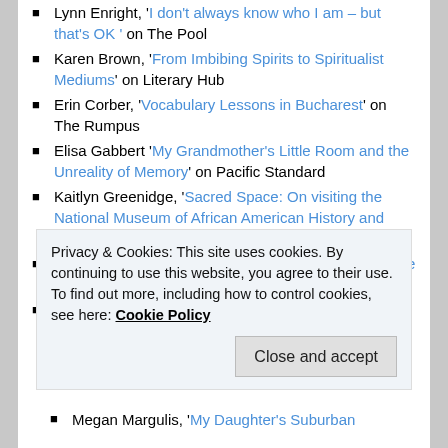Lynn Enright, 'I don't always know who I am – but that's OK ' on The Pool
Karen Brown, 'From Imbibing Spirits to Spiritualist Mediums' on Literary Hub
Erin Corber, 'Vocabulary Lessons in Bucharest' on The Rumpus
Elisa Gabbert 'My Grandmother's Little Room and the Unreality of Memory' on Pacific Standard
Kaitlyn Greenidge, 'Sacred Space: On visiting the National Museum of African American History and Culture, and facing the present' on Lenny
Claire Handscombe, 'Dance: On Ballet and Impossible Love' on Catapult
Melissa Febos, 'Reconciliation' on Lenny
Privacy & Cookies: This site uses cookies. By continuing to use this website, you agree to their use. To find out more, including how to control cookies, see here: Cookie Policy
Megan Margulis, 'My Daughter's Suburban